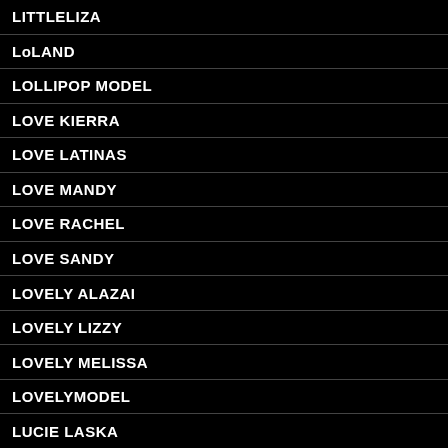LITTLELIZA
LoLAND
LOLLIPOP MODEL
LOVE KIERRA
LOVE LATINAS
LOVE MANDY
LOVE RACHEL
LOVE SANDY
LOVELY ALAZAI
LOVELY LIZZY
LOVELY MELISSA
LOVELYMODEL
LUCIE LASKA